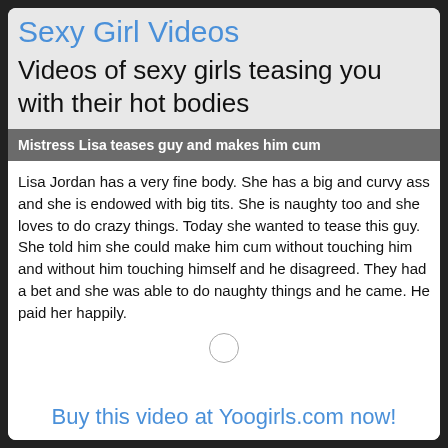Sexy Girl Videos
Videos of sexy girls teasing you with their hot bodies
Mistress Lisa teases guy and makes him cum
Lisa Jordan has a very fine body. She has a big and curvy ass and she is endowed with big tits. She is naughty too and she loves to do crazy things. Today she wanted to tease this guy. She told him she could make him cum without touching him and without him touching himself and he disagreed. They had a bet and she was able to do naughty things and he came. He paid her happily.
Buy this video at Yoogirls.com now!